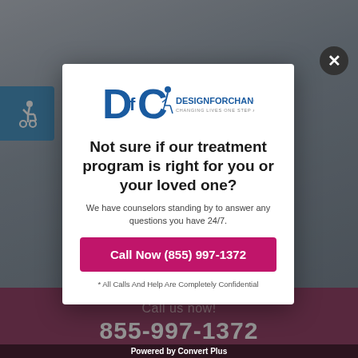[Figure (screenshot): Website background showing a modal popup overlay for Design For Change rehab treatment center. Background shows a blurred photo of a person. Bottom bar shows dark red/maroon color with phone number 855-997-1372.]
[Figure (logo): Design For Change logo - DfC letters with figure of person, text DESIGNFORCHANGE CHANGING LIVES ONE STEP AT A TIME]
Not sure if our treatment program is right for you or your loved one?
We have counselors standing by to answer any questions you have 24/7.
Call Now (855) 997-1372
* All Calls And Help Are Completely Confidential
Powered by Convert Plus